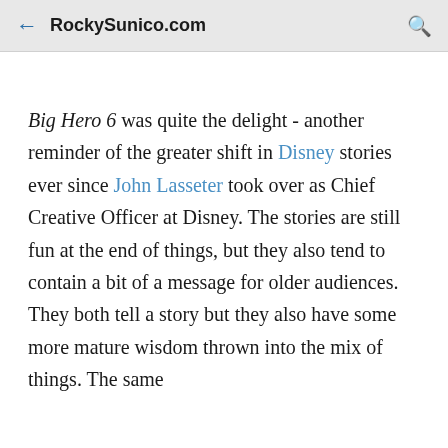← RockySunico.com 🔍
Big Hero 6 was quite the delight - another reminder of the greater shift in Disney stories ever since John Lasseter took over as Chief Creative Officer at Disney. The stories are still fun at the end of things, but they also tend to contain a bit of a message for older audiences. They both tell a story but they also have some more mature wisdom thrown into the mix of things. The same